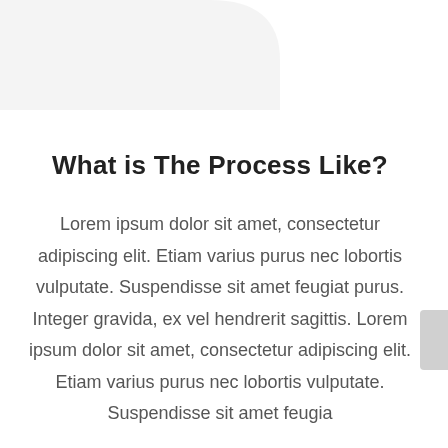What is The Process Like?
Lorem ipsum dolor sit amet, consectetur adipiscing elit. Etiam varius purus nec lobortis vulputate. Suspendisse sit amet feugiat purus. Integer gravida, ex vel hendrerit sagittis. Lorem ipsum dolor sit amet, consectetur adipiscing elit. Etiam varius purus nec lobortis vulputate. Suspendisse sit amet feugia